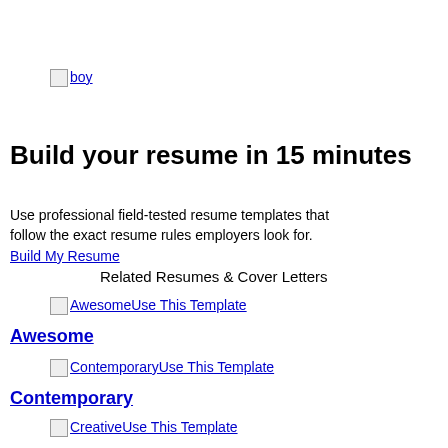[Figure (photo): Broken image placeholder labeled 'boy']
Build your resume in 15 minutes
Use professional field-tested resume templates that follow the exact resume rules employers look for.
Build My Resume
Related Resumes & Cover Letters
[Figure (screenshot): Broken image placeholder labeled 'Awesome' with link 'Use This Template']
Awesome
[Figure (screenshot): Broken image placeholder labeled 'Contemporary' with link 'Use This Template']
Contemporary
[Figure (screenshot): Broken image placeholder labeled 'Creative' with link 'Use This Template']
Creative